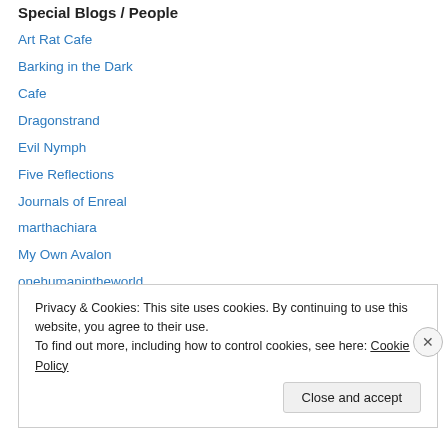Special Blogs / People
Art Rat Cafe
Barking in the Dark
Cafe
Dragonstrand
Evil Nymph
Five Reflections
Journals of Enreal
marthachiara
My Own Avalon
onehumanintheworld
Oosterman Treats Blog
RD Revilo
Privacy & Cookies: This site uses cookies. By continuing to use this website, you agree to their use. To find out more, including how to control cookies, see here: Cookie Policy